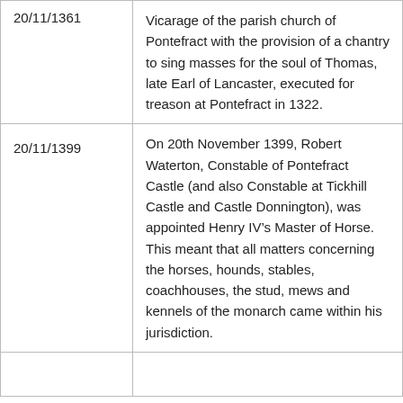| Date | Description |
| --- | --- |
| 20/11/1361 | Vicarage of the parish church of Pontefract with the provision of a chantry to sing masses for the soul of Thomas, late Earl of Lancaster, executed for treason at Pontefract in 1322. |
| 20/11/1399 | On 20th November 1399, Robert Waterton, Constable of Pontefract Castle (and also Constable at Tickhill Castle and Castle Donnington), was appointed Henry IV’s Master of Horse. This meant that all matters concerning the horses, hounds, stables, coachhouses, the stud, mews and kennels of the monarch came within his jurisdiction. |
|  |  |